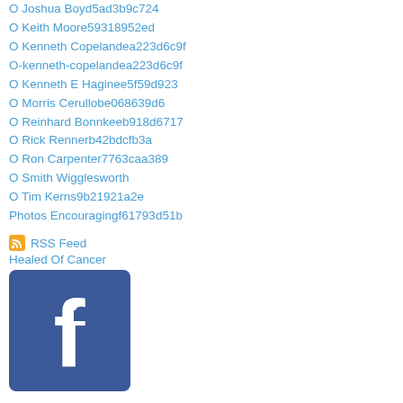O Joshua Boyd5ad3b9c724
O Keith Moore59318952ed
O Kenneth Copelandea223d6c9f
O-kenneth-copelandea223d6c9f
O Kenneth E Haginee5f59d923
O Morris Cerullobe068639d6
O Reinhard Bonnkeeb918d6717
O Rick Rennerb42bdcfb3a
O Ron Carpenter7763caa389
O Smith Wigglesworth
O Tim Kerns9b21921a2e
Photos Encouragingf61793d51b
RSS Feed
Healed Of Cancer
[Figure (logo): Facebook logo - blue square with white lowercase f]